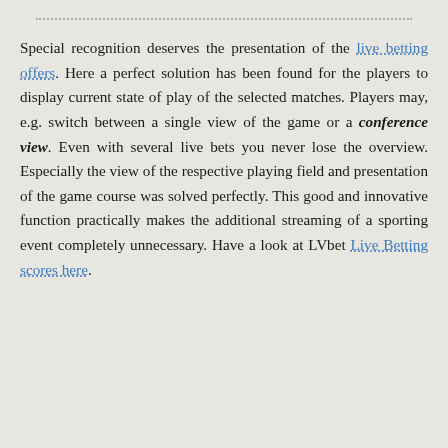Special recognition deserves the presentation of the live betting offers. Here a perfect solution has been found for the players to display current state of play of the selected matches. Players may, e.g. switch between a single view of the game or a conference view. Even with several live bets you never lose the overview. Especially the view of the respective playing field and presentation of the game course was solved perfectly. This good and innovative function practically makes the additional streaming of a sporting event completely unnecessary. Have a look at LVbet Live Betting scores here.